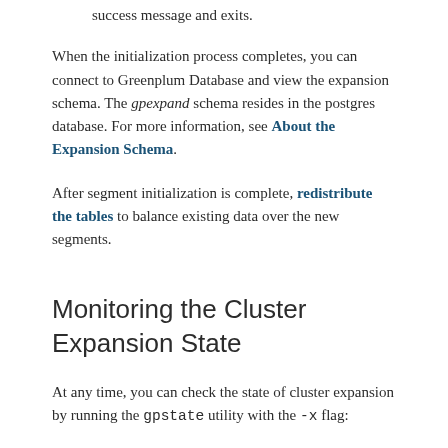success message and exits.
When the initialization process completes, you can connect to Greenplum Database and view the expansion schema. The gpexpand schema resides in the postgres database. For more information, see About the Expansion Schema.
After segment initialization is complete, redistribute the tables to balance existing data over the new segments.
Monitoring the Cluster Expansion State
At any time, you can check the state of cluster expansion by running the gpstate utility with the -x flag:
[Figure (screenshot): Code block showing: $ gpstate -x]